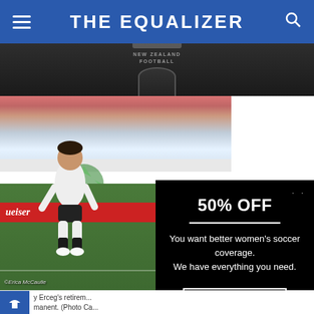THE EQUALIZER
[Figure (photo): Partial photo showing New Zealand Football jacket]
[Figure (photo): Soccer player in white uniform on green field with crowd in background and Budweiser advertisement. Photo credit: Erica McCaulle]
[Figure (infographic): Black overlay advertisement: 50% OFF - You want better women's soccer coverage. We have everything you need. GET HALF OFF]
y Erceg's retirem... manent. (Photo Ca...